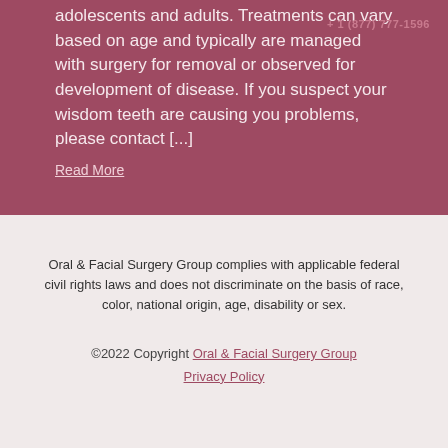+ 1 (877) 777-1596
adolescents and adults. Treatments can vary based on age and typically are managed with surgery for removal or observed for development of disease. If you suspect your wisdom teeth are causing you problems, please contact [...]
Read More
Oral & Facial Surgery Group complies with applicable federal civil rights laws and does not discriminate on the basis of race, color, national origin, age, disability or sex.
©2022 Copyright Oral & Facial Surgery Group Privacy Policy